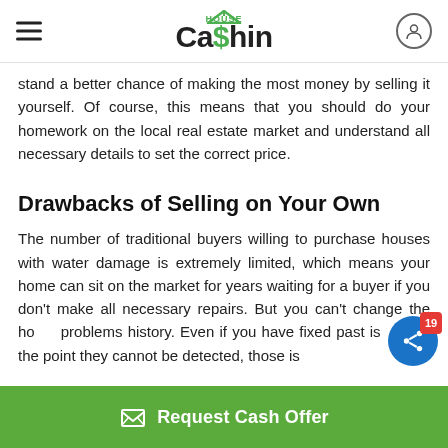HouseCashin
stand a better chance of making the most money by selling it yourself. Of course, this means that you should do your homework on the local real estate market and understand all necessary details to set the correct price.
Drawbacks of Selling on Your Own
The number of traditional buyers willing to purchase houses with water damage is extremely limited, which means your home can sit on the market for years waiting for a buyer if you don't make all necessary repairs. But you can't change the home problems history. Even if you have fixed past issues to the point they cannot be detected, those is…
Request Cash Offer